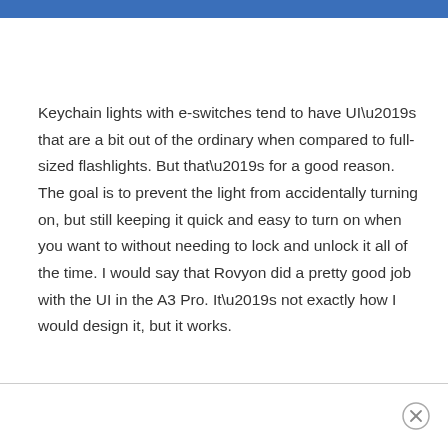Keychain lights with e-switches tend to have UI’s that are a bit out of the ordinary when compared to full-sized flashlights. But that’s for a good reason. The goal is to prevent the light from accidentally turning on, but still keeping it quick and easy to turn on when you want to without needing to lock and unlock it all of the time. I would say that Rovyon did a pretty good job with the UI in the A3 Pro. It’s not exactly how I would design it, but it works.
×